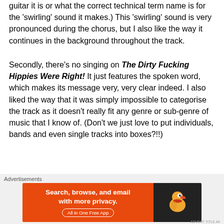guitar it is or what the correct technical term name is for the 'swirling' sound it makes.)  This 'swirling' sound is very pronounced during the chorus, but I also like the way it continues in the background throughout the track.
Secondly, there's no singing on The Dirty Fucking Hippies Were Right!   It just features the spoken word, which makes its message very, very clear indeed.  I also liked the way that it was simply impossible to categorise the track as it doesn't really fit any genre or sub-genre of music that I know of.  (Don't we just love to put individuals, bands and even single tracks into boxes?!!)
Much like 19 by Paul Hardcastle –
[Figure (screenshot): DuckDuckGo advertisement banner: orange left panel with text 'Search, browse, and email with more privacy. All in One Free App', dark right panel with DuckDuckGo duck logo. Labeled 'Advertisements' above.]